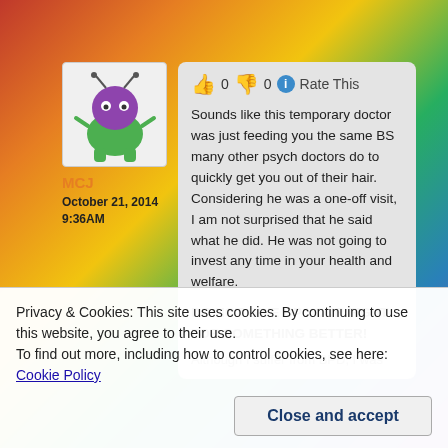[Figure (illustration): Purple and green cartoon alien/monster avatar image]
MCJ
October 21, 2014
9:36AM
0  0  Rate This
Sounds like this temporary doctor was just feeding you the same BS many other psych doctors do to quickly get you out of their hair. Considering he was a one-off visit, I am not surprised that he said what he did. He was not going to invest any time in your health and welfare.
DO NOT GIVE UP YOUR FIGHT FOR SOMETHING BETTER!
Although I suffer from BPD, I was
Privacy & Cookies: This site uses cookies. By continuing to use this website, you agree to their use.
To find out more, including how to control cookies, see here: Cookie Policy
Close and accept